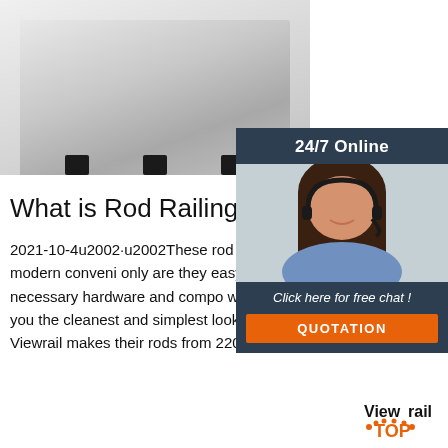[Figure (photo): Stainless steel appliance/product shown partially at the top with black feet visible at bottom]
[Figure (infographic): Chat widget showing '24/7 Online' header, customer service representative photo, 'Click here for free chat!' text, and orange QUOTATION button]
What is Rod Railing? - Viewrail
2021-10-4u2002·u2002These rod railing are at the forefront of modern convenience. Not only are they easy to install, they also rods' necessary hardware and components within themselves. This gives you the cleanest and simplest look. Stainless Steel Rods. Viewrail makes their rods from 2205 duplex stainless steel.
[Figure (logo): Viewrail TOP logo with orange dots and text in bottom right corner]